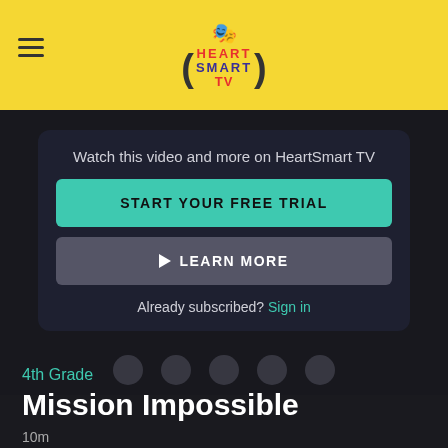[Figure (logo): HeartSmart TV logo with yellow header bar and hamburger menu icon]
Watch this video and more on HeartSmart TV
START YOUR FREE TRIAL
▶ LEARN MORE
Already subscribed? Sign in
4th Grade
Mission Impossible
10m